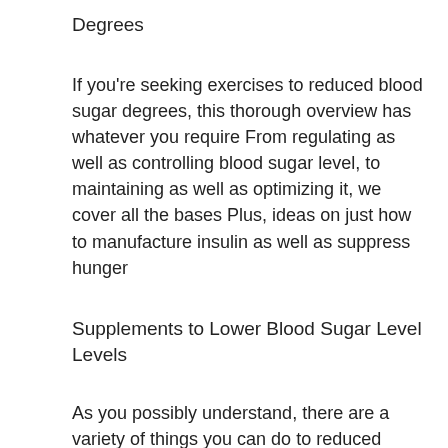Degrees
If you're seeking exercises to reduced blood sugar degrees, this thorough overview has whatever you require From regulating as well as controlling blood sugar level, to maintaining as well as optimizing it, we cover all the bases Plus, ideas on just how to manufacture insulin as well as suppress hunger
Supplements to Lower Blood Sugar Level Levels
As you possibly understand, there are a variety of things you can do to reduced blood